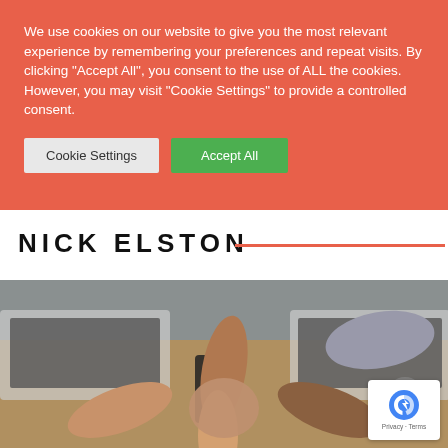We use cookies on our website to give you the most relevant experience by remembering your preferences and repeat visits. By clicking "Accept All", you consent to the use of ALL the cookies. However, you may visit "Cookie Settings" to provide a controlled consent.
Cookie Settings
Accept All
NICK ELSTON
[Figure (photo): Overhead view of a diverse group of people doing a fist bump in the center of a table covered with laptops and smartphones]